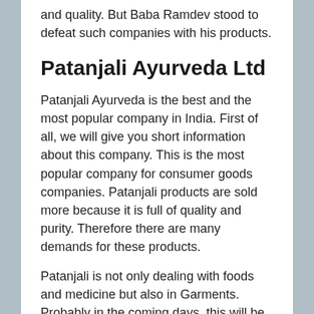and quality. But Baba Ramdev stood to defeat such companies with his products.
Patanjali Ayurveda Ltd
Patanjali Ayurveda is the best and the most popular company in India. First of all, we will give you short information about this company. This is the most popular company for consumer goods companies. Patanjali products are sold more because it is full of quality and purity. Therefore there are many demands for these products.
Patanjali is not only dealing with foods and medicine but also in Garments. Probably in the coming days, this will be the most popular store.
Latest Products of Patanjali –
Patanjali company always does something new